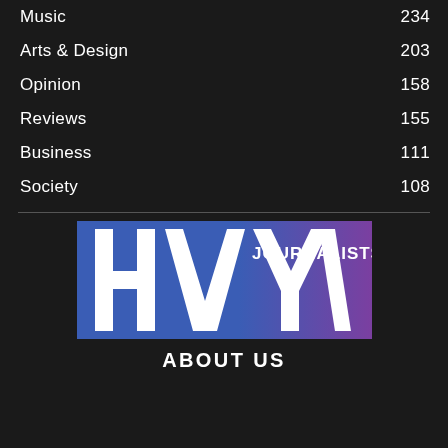Music 234
Arts & Design 203
Opinion 158
Reviews 155
Business 111
Society 108
[Figure (logo): HVY JOURNALISTS logo with blue and purple gradient background, large bold white HVY text with a slash shape and JOURNALISTS text]
ABOUT US